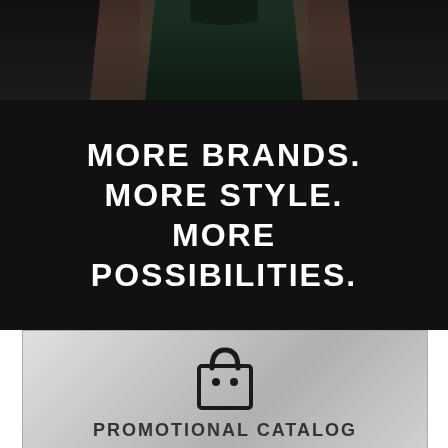[Figure (photo): Cropped photo of a person wearing a dark teal t-shirt, showing torso and upper body area, dark moody background]
MORE BRANDS. MORE STYLE. MORE POSSIBILITIES.
[Figure (illustration): Silver/grey gradient rectangular box containing a shopping bag icon and the text PROMOTIONAL CATALOG]
PROMOTIONAL CATALOG